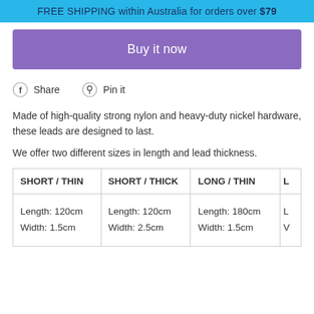FREE SHIPPING within Australia for orders over $79
Buy it now
Share   Pin it
Made of high-quality strong nylon and heavy-duty nickel hardware, these leads are designed to last.
We offer two different sizes in length and lead thickness.
| SHORT / THIN | SHORT / THICK | LONG / THIN | L |
| --- | --- | --- | --- |
| Length: 120cm
Width: 1.5cm | Length: 120cm
Width: 2.5cm | Length: 180cm
Width: 1.5cm | L
V |